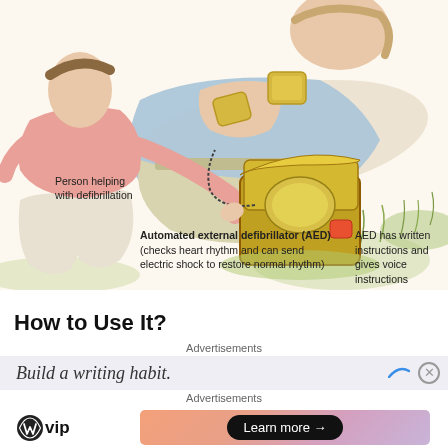[Figure (illustration): Medical illustration showing a person kneeling on grass helping a patient lying on the ground. The helper is connecting leads to an Automated External Defibrillator (AED) device. The patient has defibrillator pads attached to their chest. Labels indicate 'Person helping with defibrillation', 'Automated external defibrillator (AED) (checks heart rhythm and can send electric shock to restore normal rhythm)', and 'AED has written instructions and gives voice instructions'.]
Person helping with defibrillation
Automated external defibrillator (AED) (checks heart rhythm and can send electric shock to restore normal rhythm)
AED has written instructions and gives voice instructions
How to Use It?
Advertisements
Build a writing habit.
Advertisements
WordPress VIP — Learn more →